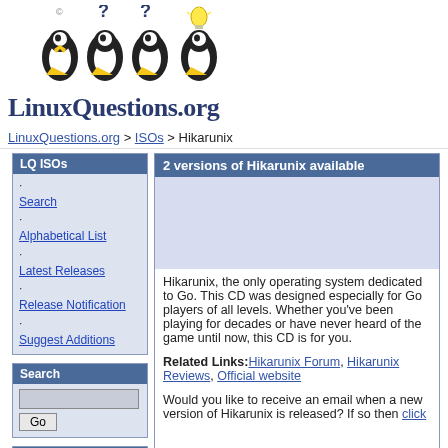[Figure (logo): LinuxQuestions.org logo with four penguin mascots and a lightbulb]
LinuxQuestions.org > ISOs > Hikarunix
LQ ISOs
· Search
· Alphabetical List
· Latest Releases
· Release Notification
· Suggest Additions
Search
Need Help?
· Downloading
2 versions of Hikarunix available
Hikarunix, the only operating system dedicated to Go. This CD was designed especially for Go players of all levels. Whether you've been playing for decades or have never heard of the game until now, this CD is for you.
Related Links: Hikarunix Forum, Hikarunix Reviews, Official website
Would you like to receive an email when a new version of Hikarunix is released? If so then click